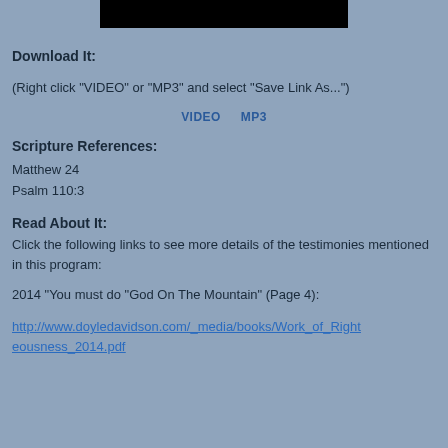[Figure (screenshot): Black video thumbnail bar at the top center of the page]
Download It:
(Right click "VIDEO" or "MP3" and select "Save Link As...")
VIDEO   MP3
Scripture References:
Matthew 24
Psalm 110:3
Read About It:
Click the following links to see more details of the testimonies mentioned in this program:
2014 “You must do “God On The Mountain” (Page 4):
http://www.doyledavidson.com/_media/books/Work_of_Righteousness_2014.pdf